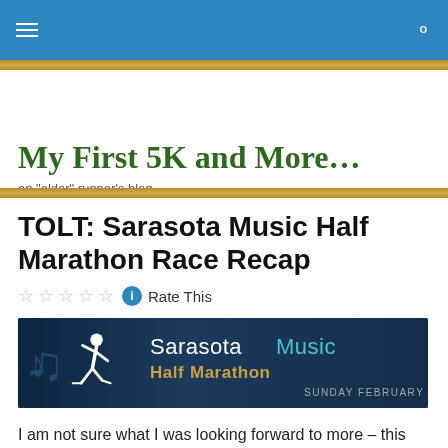Navigation bar with menu and search icons
My First 5K and More…
an "older" runner's blog
TOLT: Sarasota Music Half Marathon Race Recap
Rate This
[Figure (illustration): Sarasota Music Half Marathon banner with runner silhouette, text reading 'Sarasota Music Half Marathon SUNDAY FEBRUARY 7, 2016']
I am not sure what I was looking forward to more – this race or leaving the cold NE for 6 days in Florida!!